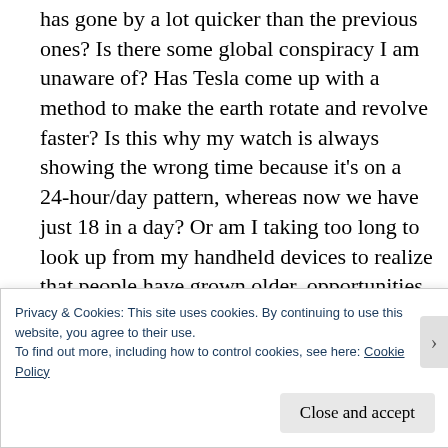has gone by a lot quicker than the previous ones? Is there some global conspiracy I am unaware of? Has Tesla come up with a method to make the earth rotate and revolve faster? Is this why my watch is always showing the wrong time because it's on a 24-hour/day pattern, whereas now we have just 18 in a day? Or am I taking too long to look up from my handheld devices to realize that people have grown older, opportunities have gone by, and Pierce Brosnan is no longer James Bond (Thank God)?
Where are the aliens hiding? Oh come on, I sense
Privacy & Cookies: This site uses cookies. By continuing to use this website, you agree to their use.
To find out more, including how to control cookies, see here: Cookie Policy